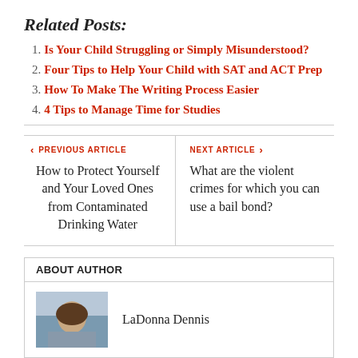Related Posts:
1. Is Your Child Struggling or Simply Misunderstood?
2. Four Tips to Help Your Child with SAT and ACT Prep
3. How To Make The Writing Process Easier
4. 4 Tips to Manage Time for Studies
< PREVIOUS ARTICLE | How to Protect Yourself and Your Loved Ones from Contaminated Drinking Water
NEXT ARTICLE > | What are the violent crimes for which you can use a bail bond?
ABOUT AUTHOR
LaDonna Dennis